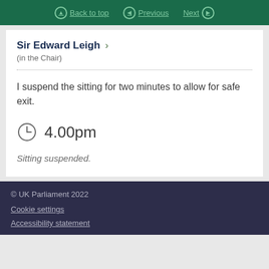Back to top | Previous | Next
Sir Edward Leigh
(in the Chair)
I suspend the sitting for two minutes to allow for safe exit.
4.00pm
Sitting suspended.
© UK Parliament 2022
Cookie settings
Accessibility statement